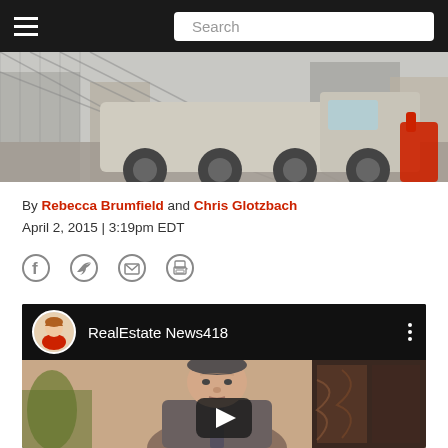Navigation bar with hamburger menu and Search box
[Figure (photo): Construction site photo showing heavy truck/vehicle with large wheels behind chain-link fence, red object visible on right]
By Rebecca Brumfield and Chris Glotzbach
April 2, 2015 | 3:19pm EDT
[Figure (infographic): Social share icons: Facebook, Twitter, Email, Print]
[Figure (screenshot): Embedded YouTube video player showing RealEstate News418 channel with avatar of woman, channel name, and video thumbnail of man in suit with play button overlay]